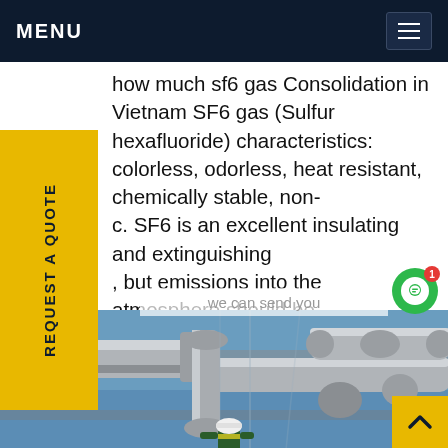MENU
how much sf6 gas Consolidation in Vietnam SF6 gas (Sulfur hexafluoride) characteristics: colorless, odorless, heat resistant, chemically stable, non-c. SF6 is an excellent insulating and extinguishing , but emissions into the atmosphere should be ided due to its high global warming potential.Get e
[Figure (photo): Industrial gas pipeline infrastructure photo with a worker in safety gear (hard hat, high-visibility vest) working on large cylindrical pipe assemblies against a blue sky background.]